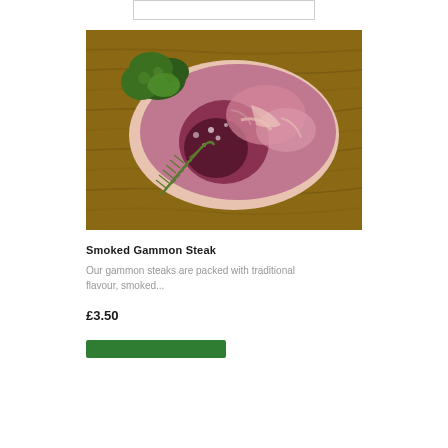[Figure (photo): A raw smoked gammon steak placed on a wooden cutting board, garnished with fresh green herbs including parsley and rosemary sprigs in the background.]
Smoked Gammon Steak
Our gammon steaks are packed with traditional flavour, smoked...
£3.50